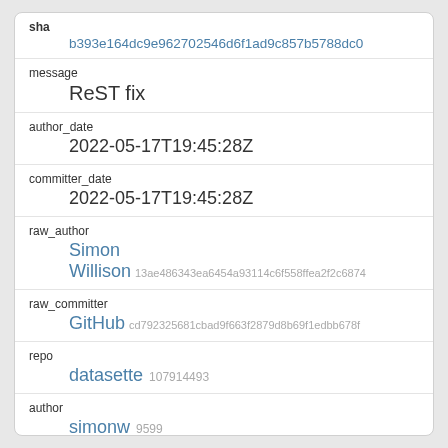| sha | b393e164dc9e962702546d6f1ad9c857b5788dc0 |
| message | ReST fix |
| author_date | 2022-05-17T19:45:28Z |
| committer_date | 2022-05-17T19:45:28Z |
| raw_author | Simon Willison 13ae486343ea6454a93114c6f558ffea2f2c6874 |
| raw_committer | GitHub cd792325681cbad9f663f2879d8b69f1edbb678f |
| repo | datasette 107914493 |
| author | simonw 9599 |
| committer | web-flow 19864447 |